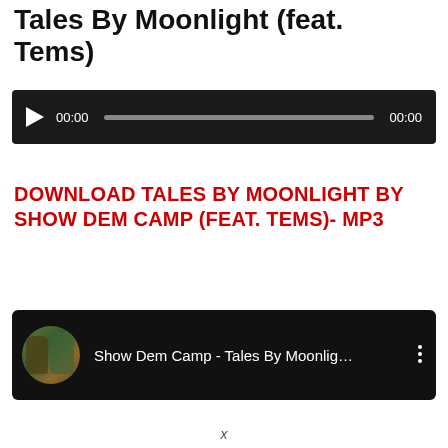Tales By Moonlight (feat. Tems)
[Figure (screenshot): Audio player with dark background, play button, time stamps 00:00 on left and right, and a grey progress bar.]
DOWNLOAD TALES BY MOONLIGHT BY SHOW DEM CAMP (FEAT. TEMS)- MP3
[Figure (screenshot): YouTube-style dark thumbnail bar showing two figures avatar, title 'Show Dem Camp - Tales By Moonlig...' and a three-dot menu icon.]
x